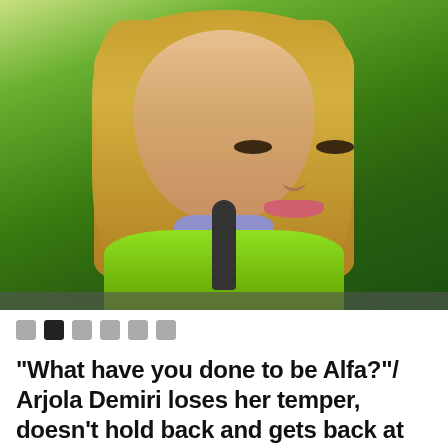[Figure (photo): A woman with long blonde hair wearing a bright green blazer and lavender shirt, speaking into a microphone against a green background. She appears to be a TV presenter or journalist.]
● ■ ■ ■ ■ ■
"What have you done to be Alfa?"/ Arjola Demiri loses her temper, doesn't hold back and gets back at her followers (PHOTO)